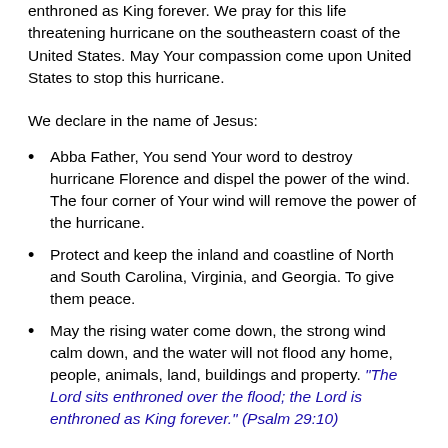enthroned as King forever. We pray for this life threatening hurricane on the southeastern coast of the United States. May Your compassion come upon United States to stop this hurricane.
We declare in the name of Jesus:
Abba Father, You send Your word to destroy hurricane Florence and dispel the power of the wind. The four corner of Your wind will remove the power of the hurricane.
Protect and keep the inland and coastline of North and South Carolina, Virginia, and Georgia. To give them peace.
May the rising water come down, the strong wind calm down, and the water will not flood any home, people, animals, land, buildings and property. “The Lord sits enthroned over the flood; the Lord is enthroned as King forever.” (Psalm 29:10)